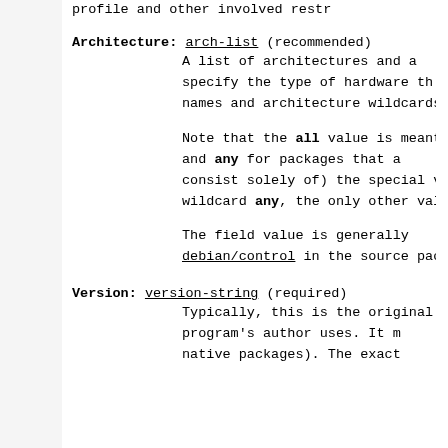profile and other involved restr
Architecture: arch-list (recommended)
A list of architectures and a...
specify the type of hardware th...
names and architecture wildcards...
Note that the all value is meant...
and any for packages that a...
consist solely of) the special v...
wildcard any, the only other val...
The field value is generally...
debian/control in the source pac...
Version: version-string (required)
Typically, this is the original...
program's author uses. It m...
native packages). The exact...